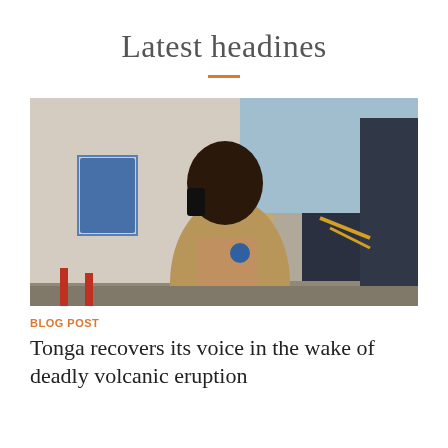Latest headines
[Figure (photo): A man in a tan uniform shirt holding a radio or phone to his ear, standing on a ship or industrial dock area with a blue door and equipment visible in the background.]
BLOG POST
Tonga recovers its voice in the wake of deadly volcanic eruption